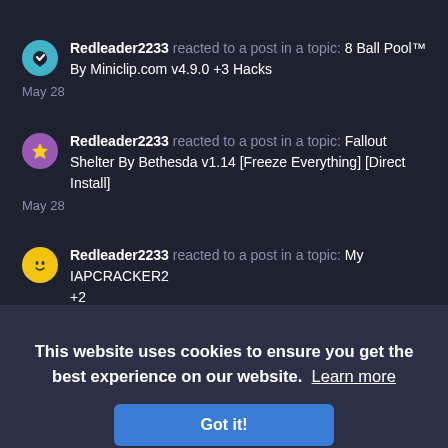Redleader2233 reacted to a post in a topic: 8 Ball Pool™ By Miniclip.com v4.9.0 +3 Hacks May 28
Redleader2233 reacted to a post in a topic: Fallout Shelter By Bethesda v1.14 [Freeze Everything] [Direct Install] May 28
Redleader2233 reacted to a post in a topic: My IAPCRACKER2 +2 Au...
Redleader2233 reacted to a post in a topic: DRAGON BALL LEGENDS By BANDAI NAMCO Entertainment Inc v1.5.1 +10 Hacks [Support All Jailbreak Devices] March 14, 2020
This website uses cookies to ensure you get the best experience on our website. Learn more
Got it!